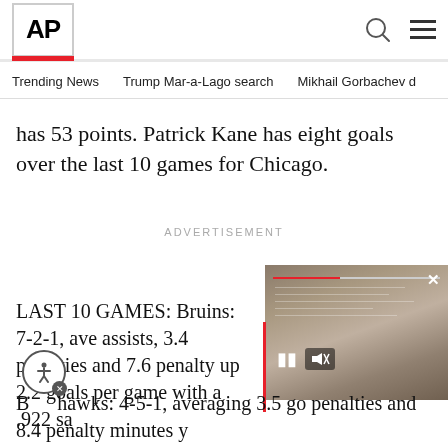AP
Trending News   Trump Mar-a-Lago search   Mikhail Gorbachev d
has 53 points. Patrick Kane has eight goals over the last 10 games for Chicago.
ADVERTISEMENT
[Figure (screenshot): Video player overlay showing documents or papers on a table, with playback controls including a pause button and mute icon, a red progress bar, and a close button (×).]
LAST 10 GAMES: Bruins: 7-2-1, ave assists, 3.4 penalties and 7.6 penalty up 2.2 goals per game with a .922 sa
Blackhawks: 4-5-1, averaging 3.5 go penalties and 8.4 penalty minutes y